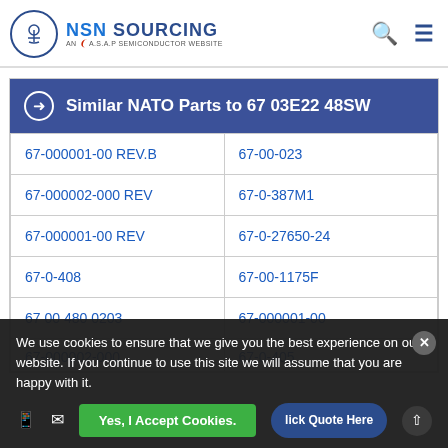NSN SOURCING AN A.S.A.P SEMICONDUCTOR WEBSITE
| Similar NATO Parts to 67 03E22 48SW |
| --- |
| 67-000001-00 REV.B | 67-00-023 |
| 67-000002-000 REV | 67-0-387M1 |
| 67-000001-00 REV | 67-0-27650-24 |
| 67-0-408 | 67-00-1175F |
| 67 00 480 0203 | 67-000001-00 |
| 67-000002-000 | 67-0-405 |
We use cookies to ensure that we give you the best experience on our website. If you continue to use this site we will assume that you are happy with it.